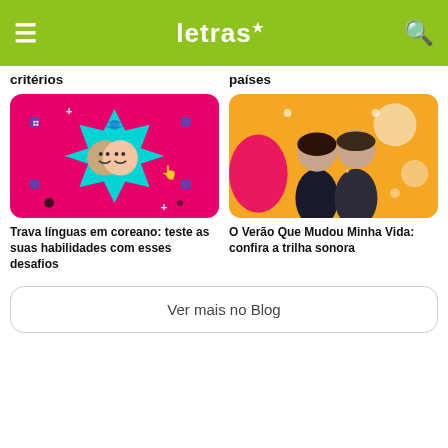letras
critérios
países
[Figure (illustration): Colorful card image with pink background, cyan starburst shape, and two cartoon face photos in the center, with decorative icons around]
[Figure (illustration): Colorful card image with orange background, pink blob shapes, cream circles, and a photo of a man and woman in formal black attire]
Trava línguas em coreano: teste as suas habilidades com esses desafios
O Verão Que Mudou Minha Vida: confira a trilha sonora
Ver mais no Blog